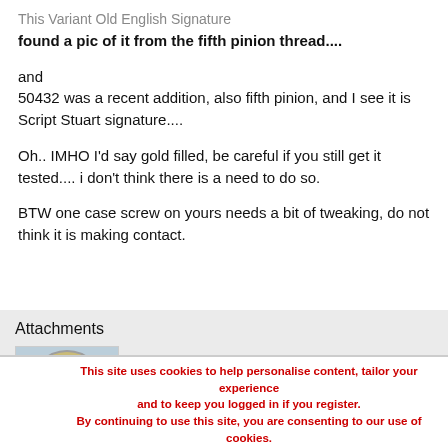This Variant Old English Signature found a pic of it from the fifth pinion thread....
and
50432 was a recent addition, also fifth pinion, and I see it is Script Stuart signature....
Oh.. IMHO I'd say gold filled, be careful if you still get it tested.... i don't think there is a need to do so.
BTW one case screw on yours needs a bit of tweaking, do not think it is making contact.
Attachments
[Figure (photo): Partial view of a watch movement or case back]
This site uses cookies to help personalise content, tailor your experience and to keep you logged in if you register. By continuing to use this site, you are consenting to our use of cookies.
ACCEPT    LEARN MORE...